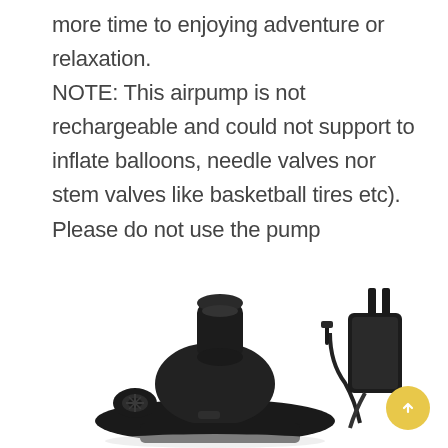more time to enjoying adventure or relaxation. NOTE: This airpump is not rechargeable and could not support to inflate balloons, needle valves nor stem valves like basketball tires etc). Please do not use the pump continuously over 10 minutes.
[Figure (photo): Photo of a black electric air pump/compressor with nozzle attachments on the left, and a power adapter/AC adapter with cable on the right, both shown on white background.]